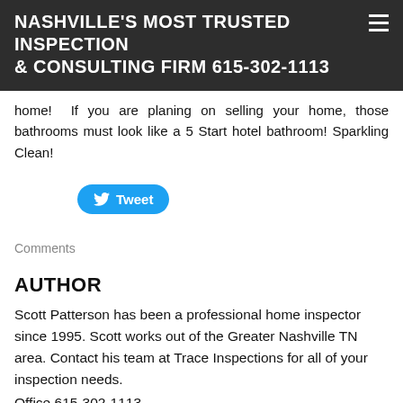NASHVILLE'S MOST TRUSTED INSPECTION & CONSULTING FIRM 615-302-1113
home!  If you are planing on selling your home, those bathrooms must look like a 5 Start hotel bathroom! Sparkling Clean!
[Figure (other): Twitter Tweet button]
Comments
AUTHOR
Scott Patterson has been a professional home inspector since 1995. Scott works out of the Greater Nashville TN area. Contact his team at Trace Inspections for all of your inspection needs.
Office 615-302-1113